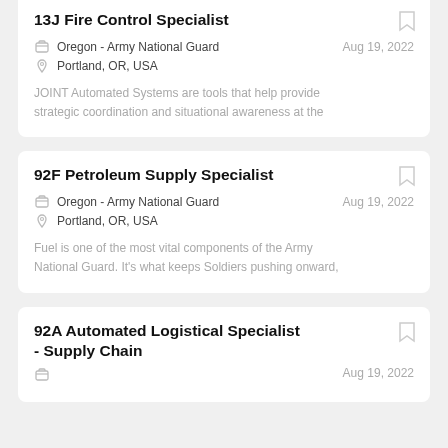13J Fire Control Specialist
Oregon - Army National Guard   Aug 19, 2022
Portland, OR, USA
JOINT Automated Systems are tools that help provide strategic coordination and situational awareness at the
92F Petroleum Supply Specialist
Oregon - Army National Guard   Aug 19, 2022
Portland, OR, USA
Fuel is one of the most vital components of the Army National Guard. It's what keeps Soldiers pushing onward,
92A Automated Logistical Specialist - Supply Chain
Aug 19, 2022